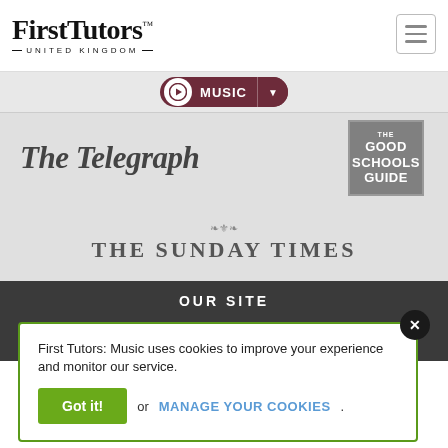[Figure (logo): First Tutors United Kingdom logo with serif font and decorative lines]
[Figure (screenshot): Hamburger menu icon button (three horizontal lines) in a rounded square]
[Figure (logo): Music navigation pill button with music note icon, MUSIC label, and dropdown arrow in dark red]
[Figure (logo): The Telegraph logo in blackletter/gothic serif font]
[Figure (logo): The Good Schools Guide logo - grey box with text THE GOOD SCHOOLS GUIDE]
[Figure (logo): The Sunday Times logo with decorative crown motif and uppercase serif lettering]
OUR SITE
First Tutors: Music uses cookies to improve your experience and monitor our service.
Got it! or MANAGE YOUR COOKIES.